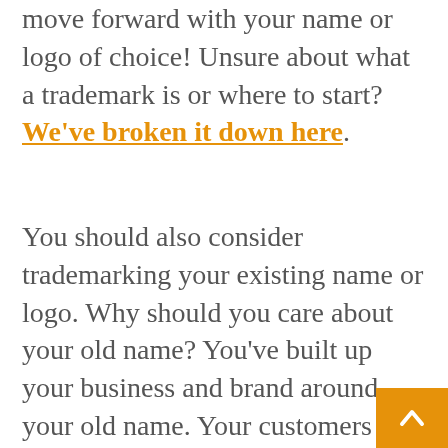move forward with your name or logo of choice! Unsure about what a trademark is or where to start? We've broken it down here.
You should also consider trademarking your existing name or logo. Why should you care about your old name? You've built up your business and brand around your old name. Your customers all know your old name. There is a familiarity, a reputation there. If you don't protect your old name, a new company can come in and use your old name, effectively taking up the market share you have worked so hard to establish. So protect, protect, protect. Maintain a